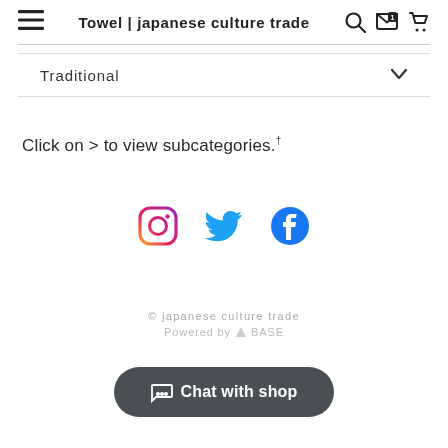Towel | japanese culture trade
Traditional
Click on > to view subcategories.
[Figure (other): Social media icons: Instagram, Twitter, Facebook]
© japanese culture trade
Powered by ▲BASE
Chat with shop